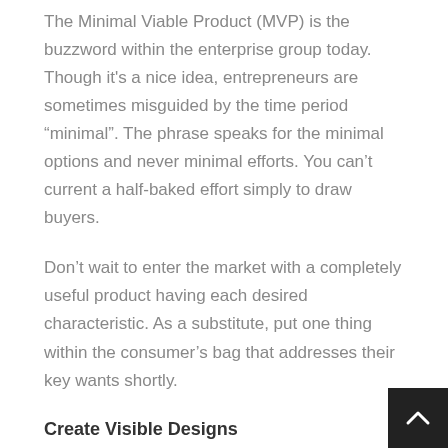The Minimal Viable Product (MVP) is the buzzword within the enterprise group today. Though it's a nice idea, entrepreneurs are sometimes misguided by the time period “minimal”. The phrase speaks for the minimal options and never minimal efforts. You can’t current a half-baked effort simply to draw buyers.
Don’t wait to enter the market with a completely useful product having each desired characteristic. As a substitute, put one thing within the consumer’s bag that addresses their key wants shortly.
Create Visible Designs
Wireframes gives you an concept, a tough blueprint of what you’ll want to obtain. It’ll assist you